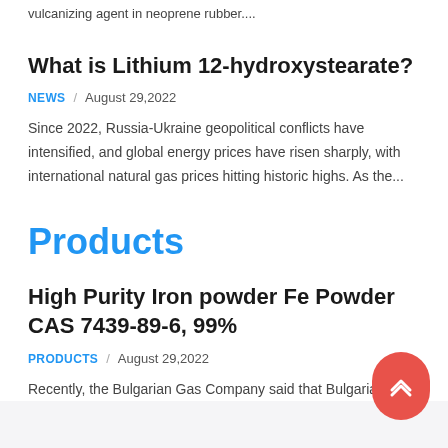vulcanizing agent in neoprene rubber....
What is Lithium 12-hydroxystearate?
NEWS  /  August 29,2022
Since 2022, Russia-Ukraine geopolitical conflicts have intensified, and global energy prices have risen sharply, with international natural gas prices hitting historic highs. As the...
Products
High Purity Iron powder Fe Powder CAS 7439-89-6, 99%
PRODUCTS  /  August 29,2022
Recently, the Bulgarian Gas Company said that Bulgaria is